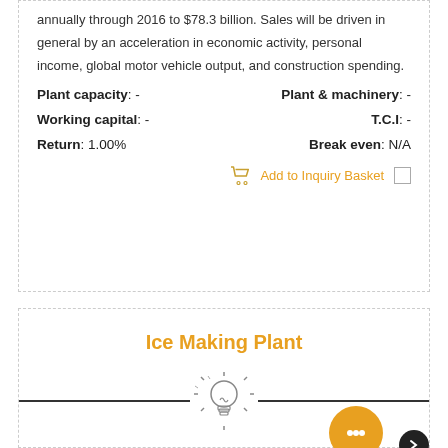annually through 2016 to $78.3 billion. Sales will be driven in general by an acceleration in economic activity, personal income, global motor vehicle output, and construction spending.
Plant capacity: -
Plant & machinery: -
Working capital: -
T.C.I: -
Return: 1.00%
Break even: N/A
Add to Inquiry Basket
Ice Making Plant
[Figure (illustration): Light bulb icon with radiating lines, flanked by two horizontal black lines forming a divider]